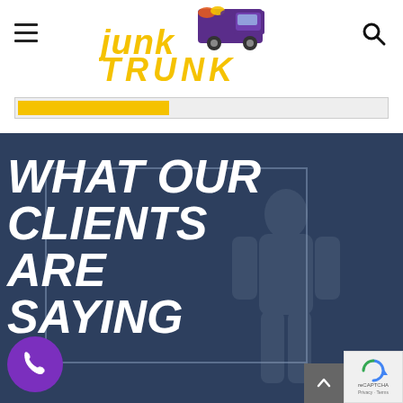[Figure (logo): Junk Trunk logo with purple and yellow truck graphic and stylized italic text 'junk TRUNK' in yellow]
[Figure (screenshot): Yellow progress/search bar partially filled]
WHAT OUR CLIENTS ARE SAYING
[Figure (illustration): Purple phone call button (circular) in bottom left corner]
[Figure (illustration): reCAPTCHA badge and scroll-to-top arrow button in bottom right corner]